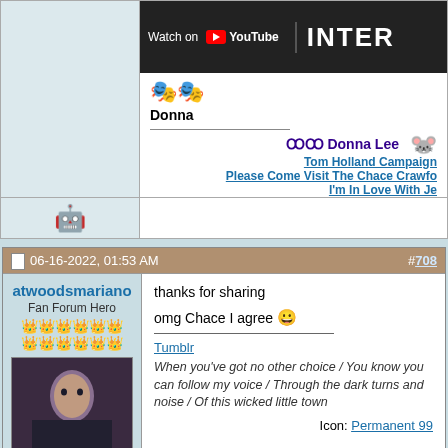[Figure (screenshot): YouTube video thumbnail with Watch on YouTube logo and partial INTER text visible]
Donna
gg Donna Lee
Tom Holland Campaign
Please Come Visit The Chace Crawfo...
I'm In Love With Je...
[Figure (screenshot): Robot/emoji icon in empty row]
06-16-2022, 01:53 AM
#708
atwoodsmariano
Fan Forum Hero
👑👑👑👑👑👑👑👑👑👑👑👑
Moderator of
thanks for sharing

omg Chace I agree 😀
Tumblr
When you've got no other choice / You know you can follow my voice / Through the dark turns and noise / Of this wicked little town
Icon: Permanent 99